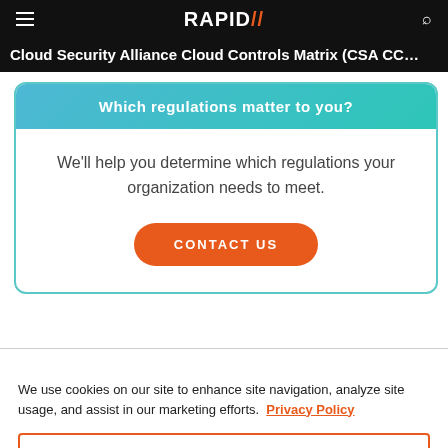RAPID7 — Cloud Security Alliance Cloud Controls Matrix (CSA CC…
Which regulations matter to you?
We'll help you determine which regulations your organization needs to meet.
CONTACT US
We use cookies on our site to enhance site navigation, analyze site usage, and assist in our marketing efforts. Privacy Policy
Cookies Settings